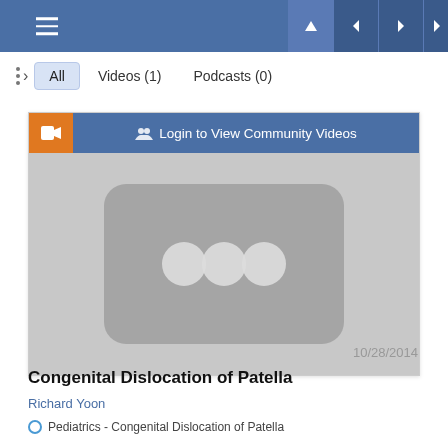Navigation bar with hamburger menu and navigation arrows
All
Videos (1)
Podcasts (0)
[Figure (screenshot): Video thumbnail placeholder showing a play button icon with three dots on a grey background, with a blue header bar reading 'Login to View Community Videos' and an orange video camera icon]
10/28/2014
Congenital Dislocation of Patella
Richard Yoon
Pediatrics - Congenital Dislocation of Patella